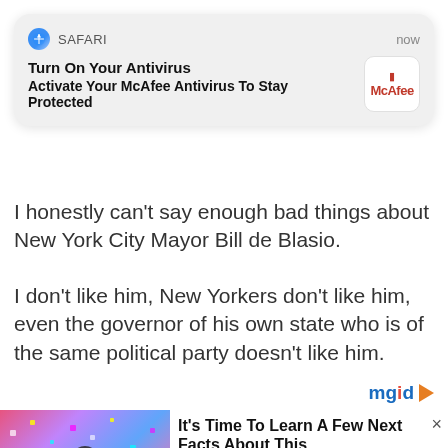[Figure (screenshot): iOS Safari push notification banner: 'Turn On Your Antivirus / Activate Your McAfee Antivirus To Stay Protected' with McAfee logo, timestamp 'now']
I honestly can't say enough bad things about New York City Mayor Bill de Blasio.
I don't like him, New Yorkers don't like him, even the governor of his own state who is of the same political party doesn't like him.
[Figure (logo): mgid logo with orange arrow]
[Figure (screenshot): Sponsored content widget: photo of person at confetti celebration, headline 'It's Time To Learn A Few Next Facts About This', JSV badge, close X button, gray overlay bars]
[Figure (photo): Photo of a woman with blonde hair holding a red object, partially visible]